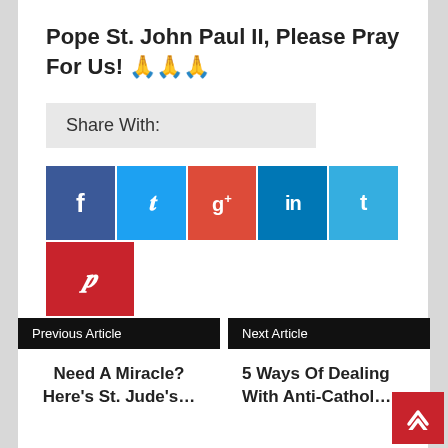Pope St. John Paul II, Please Pray For Us! 🙏🙏🙏
Share With:
[Figure (infographic): Social sharing buttons: Facebook (blue), Twitter (light blue), Google+ (red), LinkedIn (dark blue), Tumblr (light blue), Pinterest (red)]
Previous Article
Need A Miracle? Here's St. Jude's...
Next Article
5 Ways Of Dealing With Anti-Cathol...